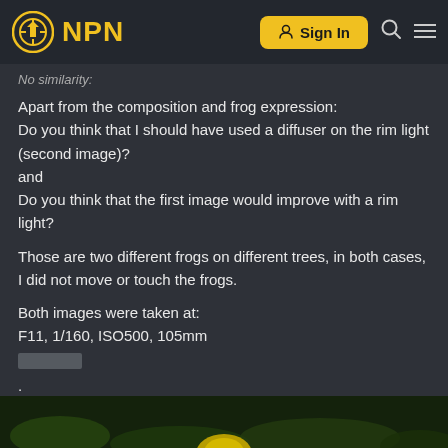NPN | Sign In
No similarity:
Apart from the composition and frog expression:
Do you think that I should have used a diffuser on the rim light (second image)?
and
Do you think that the first image would improve with a rim light?
Those are two different frogs on different trees, in both cases, I did not move or touch the frogs.
Both images were taken at:
F11, 1/160, ISO500, 105mm
.
[Figure (photo): Bottom strip showing a dark green foliage background with a yellow/golden frog partially visible at the bottom center of the image.]